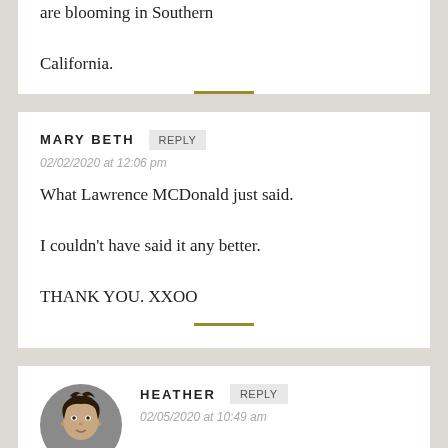are blooming in Southern California.
MARY BETH
REPLY
02/02/2020 at 12:06 pm
What Lawrence MCDonald just said. I couldn't have said it any better. THANK YOU. XXOO
[Figure (photo): Circular avatar photo of Heather, a woman with short dark hair wearing a dark top]
HEATHER
REPLY
02/05/2020 at 10:49 am
I feel the same way, Mary Beth! How lucky are we all to have one another?! Sending love and thanks to you and all in the